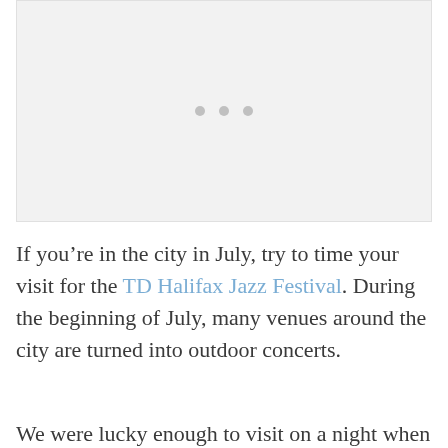[Figure (photo): Image placeholder with three gray dots centered, light gray background with border]
If you’re in the city in July, try to time your visit for the TD Halifax Jazz Festival. During the beginning of July, many venues around the city are turned into outdoor concerts.
We were lucky enough to visit on a night when